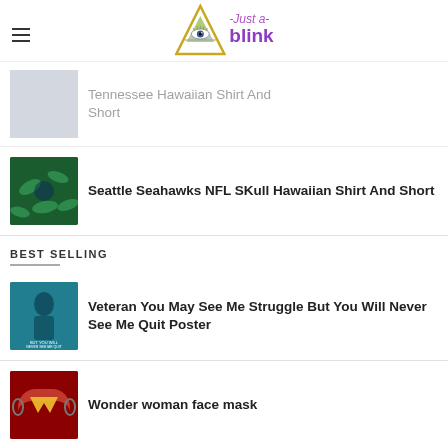Just a blink
Tennessee Hawaiian Shirt And Short
Seattle Seahawks NFL SKull Hawaiian Shirt And Short
BEST SELLING
Veteran You May See Me Struggle But You Will Never See Me Quit Poster
Wonder woman face mask
Don't forget the...